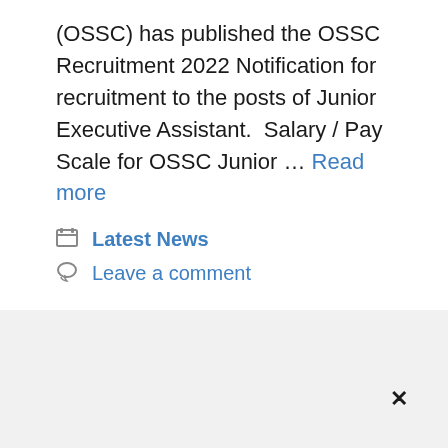(OSSC) has published the OSSC Recruitment 2022 Notification for recruitment to the posts of Junior Executive Assistant. Salary / Pay Scale for OSSC Junior … Read more
Latest News
Leave a comment